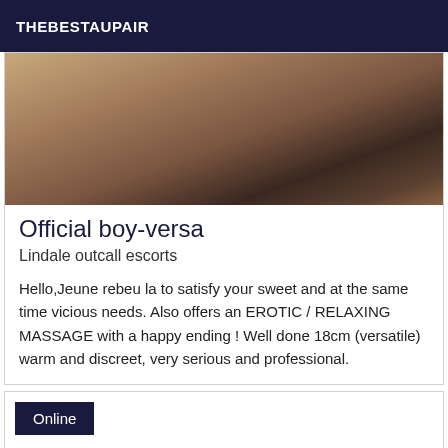THEBESTAUPAIR
[Figure (photo): Close-up blurred photo with warm brown and dark tones]
Official boy-versa
Lindale outcall escorts
Hello,Jeune rebeu la to satisfy your sweet and at the same time vicious needs. Also offers an EROTIC / RELAXING MASSAGE with a happy ending ! Well done 18cm (versatile) warm and discreet, very serious and professional.
Online